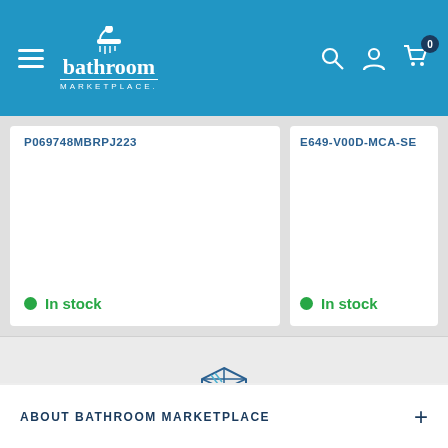Bathroom Marketplace — navigation header
P069748MBRPJ223 — In stock
E649-V00D-MCA-SE — In stock
[Figure (illustration): Box/package icon representing free shipping]
Free shipping over $99
And on hundreds of products already shipping for FREE.
ABOUT BATHROOM MARKETPLACE